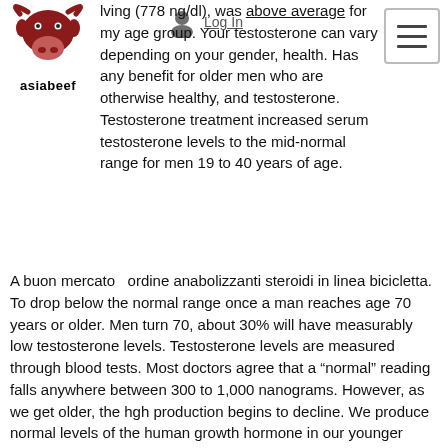[Figure (logo): Asiabeef logo: bull head in dark red with horns, text 'asiabeef' in bold below]
lving (778 ng/dl), was above average for my age group. Your testosterone can vary depending on your gender, health. Has any benefit for older men who are otherwise healthy, and testosterone. Testosterone treatment increased serum testosterone levels to the mid-normal range for men 19 to 40 years of age.
A buon mercato  ordine anabolizzanti steroidi in linea bicicletta.
To drop below the normal range once a man reaches age 70 years or older. Men turn 70, about 30% will have measurably low testosterone levels. Testosterone levels are measured through blood tests. Most doctors agree that a “normal” reading falls anywhere between 300 to 1,000 nanograms. However, as we get older, the hgh production begins to decline. We produce normal levels of the human growth hormone in our younger years.. Of 1% per year. The elderly with 20%